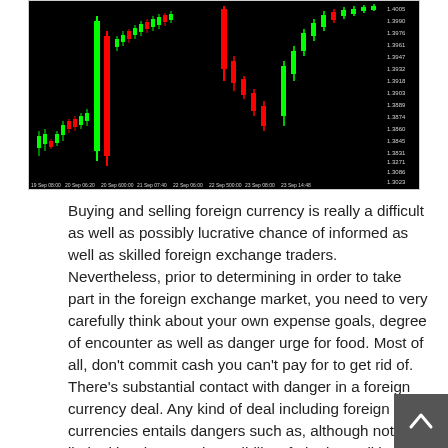[Figure (continuous-plot): Forex candlestick chart with green and red candles on a black background, showing currency price fluctuations over time with price levels on the right y-axis ranging approximately 1.3025 to 1.4005, and time labels along the x-axis.]
Buying and selling foreign currency is really a difficult as well as possibly lucrative chance of informed as well as skilled foreign exchange traders. Nevertheless, prior to determining in order to take part in the foreign exchange market, you need to very carefully think about your own expense goals, degree of encounter as well as danger urge for food. Most of all, don't commit cash you can't pay for to get rid of. There's substantial contact with danger in a foreign currency deal. Any kind of deal including foreign currencies entails dangers such as, although not limited by, the actual possibility of altering politics and/or financial problems that could considerably impact the cost or even liquidity of the foreign currency.